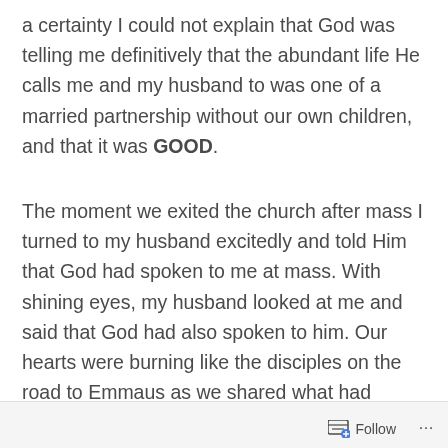a certainty I could not explain that God was telling me definitively that the abundant life He calls me and my husband to was one of a married partnership without our own children, and that it was GOOD.
The moment we exited the church after mass I turned to my husband excitedly and told Him that God had spoken to me at mass. With shining eyes, my husband looked at me and said that God had also spoken to him. Our hearts were burning like the disciples on the road to Emmaus as we shared what had happened to each of us during mass. It turned out that my husband had also been looking affectionately at that same little boy and thinking similar thoughts as I had when he received a knowing in his heart, “This is not for you.” Rather than sadness or
Follow ...